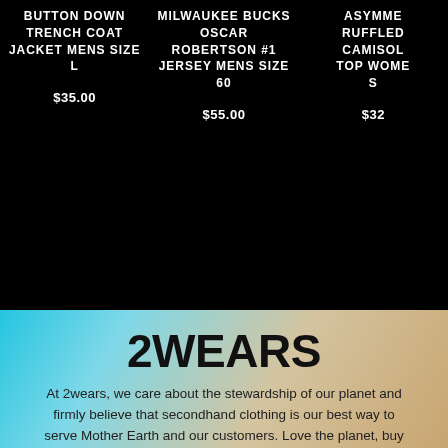BUTTON DOWN TRENCH COAT JACKET MENS SIZE L
$35.00
MILWAUKEE BUCKS OSCAR ROBERTSON #1 JERSEY MENS SIZE 60
$55.00
ASYMME RUFFLED CAMISOL TOP WOME S
$32
2WEARS
At 2wears, we care about the stewardship of our planet and firmly believe that secondhand clothing is our best way to serve Mother Earth and our customers. Love the planet, buy used.
[Figure (illustration): Instagram and Facebook social media icons]